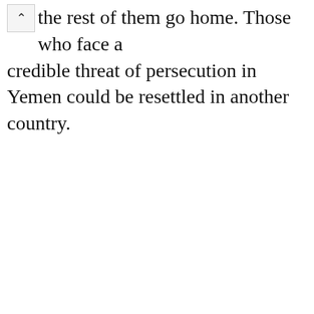the rest of them go home. Those who face a credible threat of persecution in Yemen could be resettled in another country.